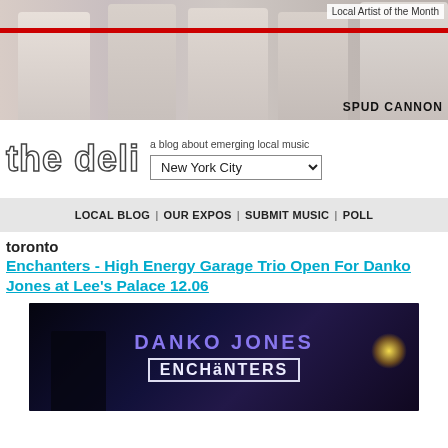[Figure (photo): Band photo of five people standing against a light pink wall with a red horizontal stripe. Text 'SPUD CANNON' in lower right. 'Local Artist of the Month' label in top right.]
Local Artist of the Month
[Figure (logo): The Deli logo - stylized outlined text reading 'the deli' alongside tagline 'a blog about emerging local music' and a 'New York City' dropdown selector]
LOCAL BLOG | OUR EXPOS | SUBMIT MUSIC | POLL
toronto
Enchanters - High Energy Garage Trio Open For Danko Jones at Lee's Palace 12.06
[Figure (photo): Concert poster/photo with purple text 'DANKO JONES' and white outlined text 'ENCHANTERS' on a dark stage background with concert lighting]